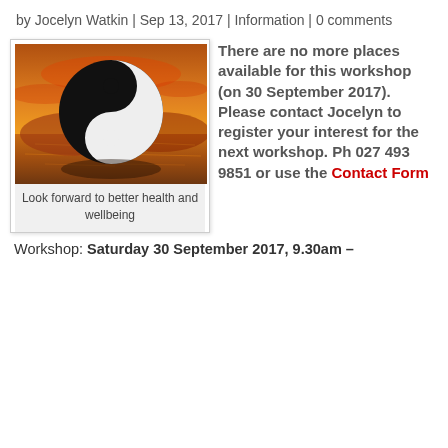by Jocelyn Watkin | Sep 13, 2017 | Information | 0 comments
[Figure (photo): Yin-yang symbol on a golden sunset background with reflection on water]
Look forward to better health and wellbeing
There are no more places available for this workshop (on 30 September 2017). Please contact Jocelyn to register your interest for the next workshop. Ph 027 493 9851 or use the Contact Form
Workshop: Saturday 30 September 2017, 9.30am –